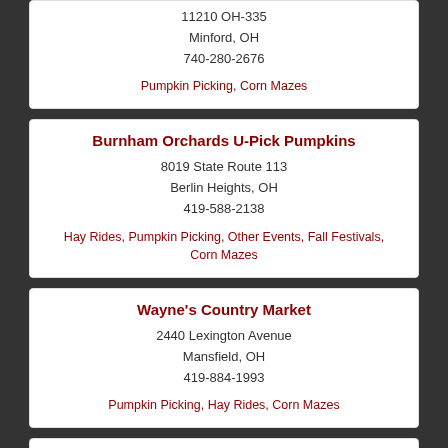11210 OH-335
Minford, OH
740-280-2676
Pumpkin Picking, Corn Mazes
Burnham Orchards U-Pick Pumpkins
8019 State Route 113
Berlin Heights, OH
419-588-2138
Hay Rides, Pumpkin Picking, Other Events, Fall Festivals, Corn Mazes
Wayne's Country Market
2440 Lexington Avenue
Mansfield, OH
419-884-1993
Pumpkin Picking, Hay Rides, Corn Mazes
Schacht Farm Market Pumpkin Patch